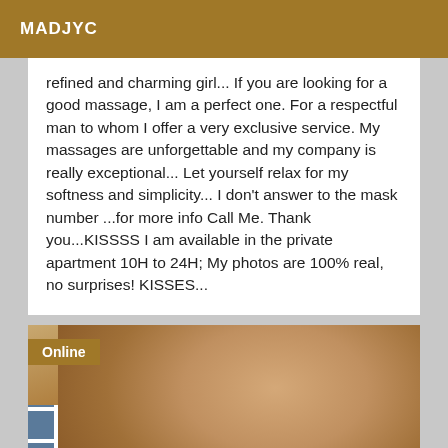MADJYC
refined and charming girl... If you are looking for a good massage, I am a perfect one. For a respectful man to whom I offer a very exclusive service. My massages are unforgettable and my company is really exceptional... Let yourself relax for my softness and simplicity... I don't answer to the mask number ...for more info Call Me. Thank you...KISSSS I am available in the private apartment 10H to 24H; My photos are 100% real, no surprises! KISSES...
[Figure (photo): Close-up photo of a person's torso/shoulder area with bathroom tiles visible in the background. An 'Online' badge appears in the top-left corner.]